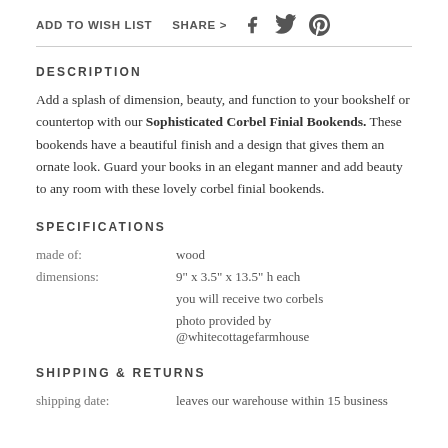ADD TO WISH LIST   SHARE >
DESCRIPTION
Add a splash of dimension, beauty, and function to your bookshelf or countertop with our Sophisticated Corbel Finial Bookends. These bookends have a beautiful finish and a design that gives them an ornate look. Guard your books in an elegant manner and add beauty to any room with these lovely corbel finial bookends.
SPECIFICATIONS
| made of: | wood |
| dimensions: | 9" x 3.5" x 13.5" h each |
|  | you will receive two corbels |
|  | photo provided by @whitecottagefarmhouse |
SHIPPING & RETURNS
| shipping date: | leaves our warehouse within 15 business |